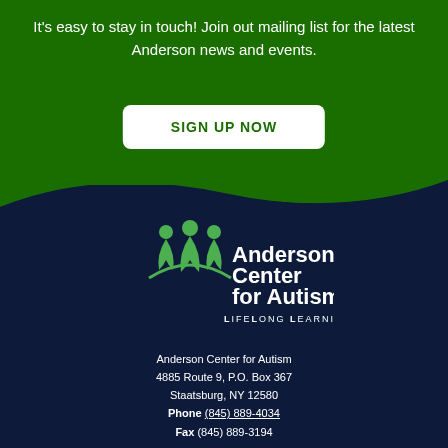It's easy to stay in touch! Join out mailing list for the latest Anderson news and events.
SIGN UP NOW
[Figure (logo): Anderson Center for Autism logo with three stylized human figures and text 'Anderson Center for Autism Lifelong Learning']
Anderson Center for Autism
4885 Route 9, P.O. Box 367
Staatsburg, NY 12580
Phone (845) 889-4034
Fax (845) 889-3194